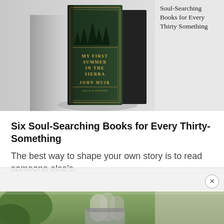[Figure (photo): Book cover of 'My First Summer in the Sierra' by John Muir, dark green hardcover with gold lettering, leaning against a dark background. Shadow visible on left. Two books stacked/leaning.]
Soul-Searching Books for Every Thirty Something
Six Soul-Searching Books for Every Thirty-Something
The best way to shape your own story is to read someone else's.
[Figure (photo): Kitchen utensils in a metal container, with greenery and soft-focus background. Bottom portion of the page showing cooking-themed photo.]